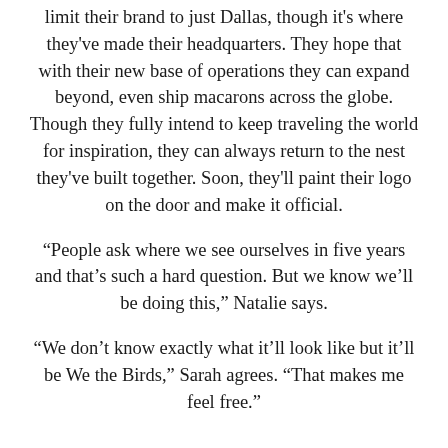limit their brand to just Dallas, though it's where they've made their headquarters. They hope that with their new base of operations they can expand beyond, even ship macarons across the globe. Though they fully intend to keep traveling the world for inspiration, they can always return to the nest they've built together. Soon, they'll paint their logo on the door and make it official.
“People ask where we see ourselves in five years and that’s such a hard question. But we know we’ll be doing this,” Natalie says.
“We don’t know exactly what it’ll look like but it’ll be We the Birds,” Sarah agrees. “That makes me feel free.”